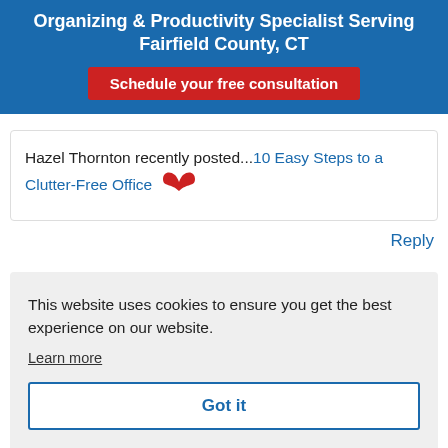Organizing & Productivity Specialist Serving Fairfield County, CT
Schedule your free consultation
Hazel Thornton recently posted...10 Easy Steps to a Clutter-Free Office
Reply
This website uses cookies to ensure you get the best experience on our website.
Learn more
Got it